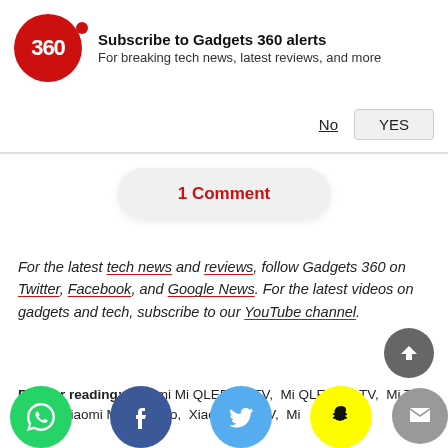[Figure (logo): Gadgets 360 red circle logo with '360' text and notification subscribe prompt with No and YES buttons]
1 Comment
For the latest tech news and reviews, follow Gadgets 360 on Twitter, Facebook, and Google News. For the latest videos on gadgets and tech, subscribe to our YouTube channel.
Further reading: Xiaomi Mi QLED 4K TV, Mi QLED 4K TV, Mi TV 5 Pro, Xiaomi Mi TV 5 Pro, Xiaomi, Mi TV, Mi
[Figure (infographic): Social media icons: WhatsApp, Facebook, Twitter, Snapchat, Email]